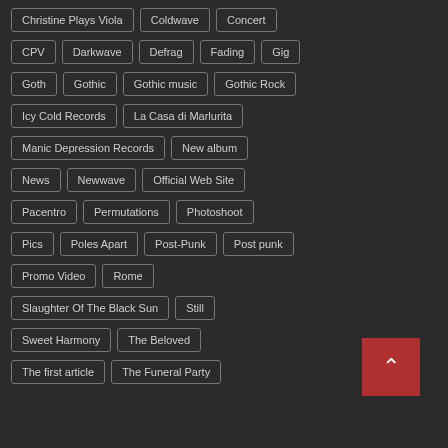Christine Plays Viola, Coldwave, Concert, CPV, Darkwave, Defrag, Fading, Gig, Goth, Gothic, Gothic music, Gothic Rock, Icy Cold Records, La Casa di Marlurita, Manic Depression Records, New album, News, Newwave, Official Web Site, Pacentro, Permutations, Photoshoot, Pics, Poles Apart, Post-Punk, Post punk, Promo Video, Rome, Slaughter Of The Black Sun, Still, Sweet Harmony, The Beloved, The first article, The Funeral Party